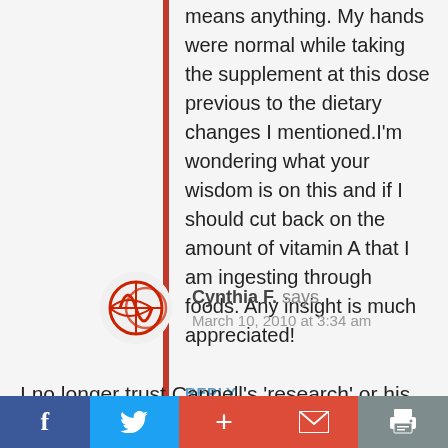means anything. My hands were normal while taking the supplement at this dose previous to the dietary changes I mentioned.I'm wondering what your wisdom is on this and if I should cut back on the amount of vitamin A that I am ingesting through foods. Any insight is much appreciated!
REPLY
Cynthia F. says
March 10, 2010 at 3:34 am
I no longer trust Cannell's 'research' or his interpretation of studies. I, and many others I've met on forums, have adverse reactions to Vit